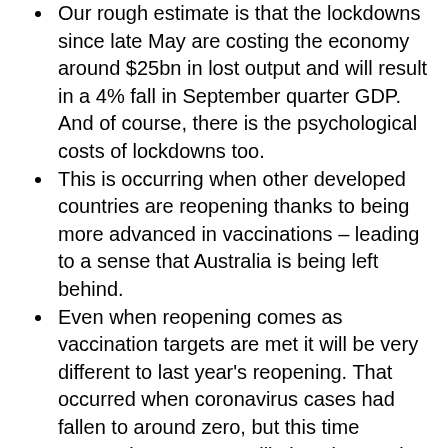Our rough estimate is that the lockdowns since late May are costing the economy around $25bn in lost output and will result in a 4% fall in September quarter GDP. And of course, there is the psychological costs of lockdowns too.
This is occurring when other developed countries are reopening thanks to being more advanced in vaccinations – leading to a sense that Australia is being left behind.
Even when reopening comes as vaccination targets are met it will be very different to last year's reopening. That occurred when coronavirus cases had fallen to around zero, but this time coronavirus cases are likely to be running much higher. While people in Europe, the UK & the US may be used to this (eg, the same number of per capita cases as the UK is now seeing would mean 13,000 cases a day in Australia), it may take